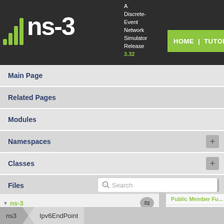[Figure (logo): ns-3 logo with green signal bars and white text on dark background]
A Discrete-Event Network Simulator Release 3.32
HOME | TUTORIALS
Main Page
Related Pages
Modules
Namespaces
Classes
Files
Search
ns-3
ns-3 Documentation
All ns3::TypeId's
Public Member Fu...
Private Attributes
ns3 | Ipv6EndPoint